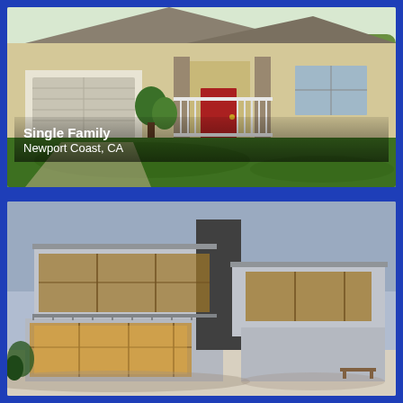[Figure (photo): Photo of a traditional single-family home with garage, front porch with white railings, stone accents, red front door, and green lawn.]
Single Family
Newport Coast, CA
[Figure (photo): Exterior rendering of a modern two-story luxury home with large glass windows, flat roof design, illuminated interior visible through floor-to-ceiling windows, photographed at dusk.]